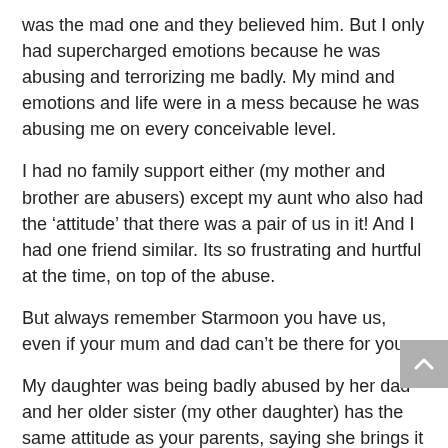was the mad one and they believed him. But I only had supercharged emotions because he was abusing and terrorizing me badly. My mind and emotions and life were in a mess because he was abusing me on every conceivable level.
I had no family support either (my mother and brother are abusers) except my aunt who also had the ‘attitude’ that there was a pair of us in it! And I had one friend similar. Its so frustrating and hurtful at the time, on top of the abuse.
But always remember Starmoon you have us, even if your mum and dad can’t be there for you.
My daughter was being badly abused by her dad and her older sister (my other daughter) has the same attitude as your parents, saying she brings it on herself. But this just echoes the abuser who maintains ‘if you didn’t do a,b,c,d then I wouldn’t have to get mad/reject you’ yada, yada.
And the professionals supporting the abuser’s